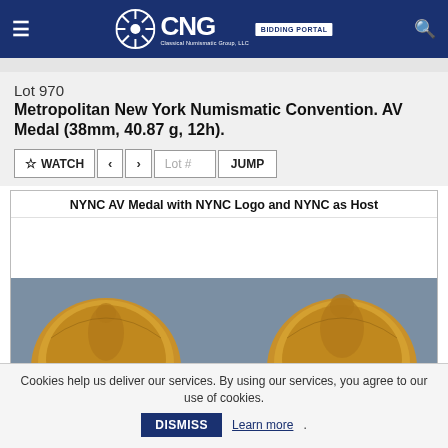CNG BIDDING PORTAL
Lot 970
Metropolitan New York Numismatic Convention. AV Medal (38mm, 40.87 g, 12h).
[Figure (photo): NYNC AV Medal with NYNC Logo and NYNC as Host. Two gold medals shown from above against a gray-blue background, each displaying classical figural designs.]
NYNC AV Medal with NYNC Logo and NYNC as Host
Cookies help us deliver our services. By using our services, you agree to our use of cookies.